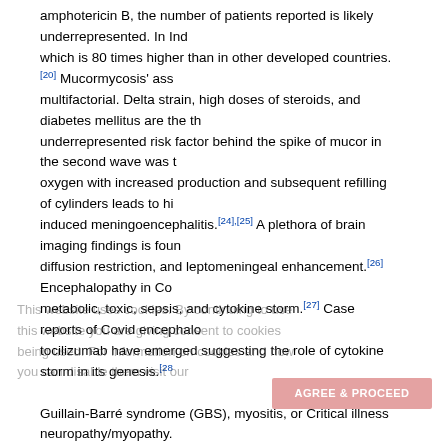amphotericin B, the number of patients reported is likely underrepresented. In India, which is 80 times higher than in other developed countries.[20] Mucormycosis' association is multifactorial. Delta strain, high doses of steroids, and diabetes mellitus are the three underrepresented risk factor behind the spike of mucor in the second wave was the oxygen with increased production and subsequent refilling of cylinders leads to induced meningoencephalitis.[24],[25] A plethora of brain imaging findings is found, diffusion restriction, and leptomeningeal enhancement.[26] Encephalopathy in Covid, metabolic, toxic, sepsis, and cytokine storm.[27] Case reports of Covid encephalopathy tocilizumab have emerged suggesting the role of cytokine storm in its genesis.[28] Guillain-Barré syndrome (GBS), myositis, or Critical illness neuropathy/myopathy. creatine kinase and the inability to isolate the virus from histopathology analysis, inflammatory.[30] Three patients had Bell's palsy and three had foot drop in the presence study secondary to Covid.[7] The association of GBS with Covid-19 is well known was found to be 0.15%,[31] with the major subtype being demyelinating. It is further no major difference in the clinical presentation among Covid and non-Covid patients reports have reported Bell's palsy in Covid patients.[33] A study from Karnataka has found patients to be 0.8%.[34] This is significantly higher than the general population. This overrepresentation of severe cases which required hospitalization, a lack of statistics